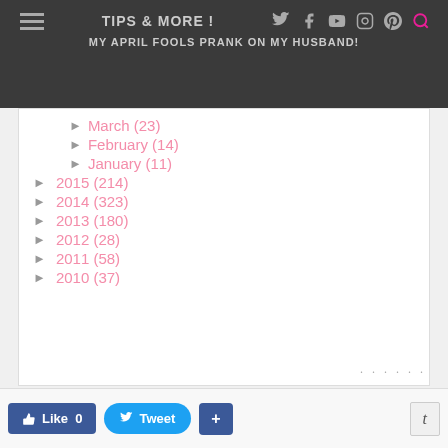TIPS & MORE! | MY APRIL FOOLS PRANK ON MY HUSBAND!
March (23)
February (14)
January (11)
2015 (214)
2014 (323)
2013 (180)
2012 (28)
2011 (58)
2010 (37)
Like 0  Tweet  +  t